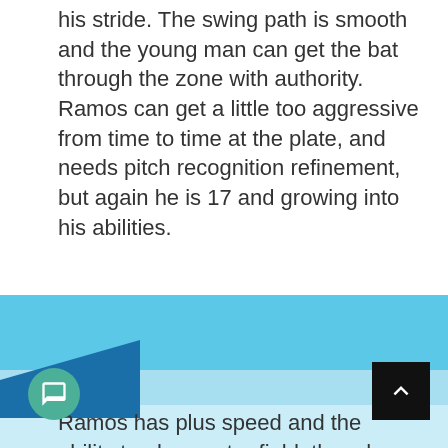his stride. The swing path is smooth and the young man can get the bat through the zone with authority. Ramos can get a little too aggressive from time to time at the plate, and needs pitch recognition refinement, but again he is 17 and growing into his abilities.
Ramos has plus speed and the ability to play center field, though he projects more as a corner outfielder. He has a decent arm, but his speed and